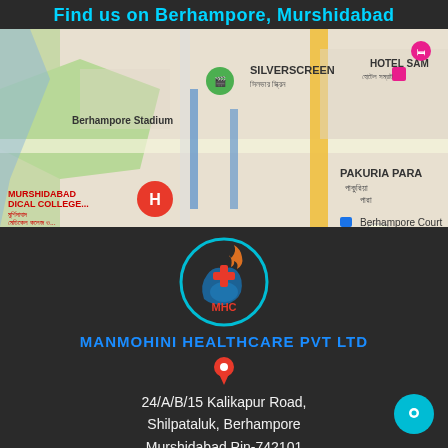Find us on Berhampore, Murshidabad
[Figure (map): Google Maps screenshot showing Berhampore area with landmarks: Berhampore Stadium, SILVERSCREEN, HOTEL SAM, MURSHIDABAD MEDICAL COLLEGE, PAKURIA PARA, Berhampore Court, road network, and a red H (hospital) marker]
[Figure (logo): MHC logo: circular teal border with orange flame, blue hand, and red plus sign, with MHC text in red]
MANMOHINI HEALTHCARE PVT LTD
24/A/B/15 Kalikapur Road, Shilpataluk, Berhampore Murshidabad Pin-742101